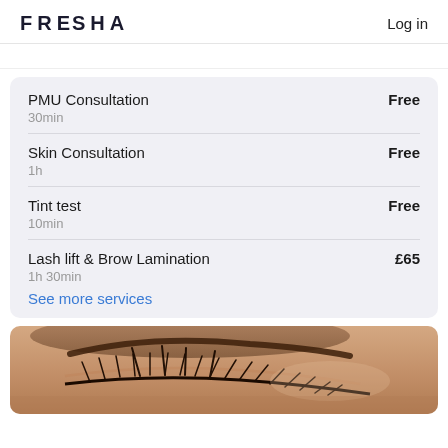FRESHA   Log in
PMU Consultation  Free  30min
Skin Consultation  Free  1h
Tint test  Free  10min
Lash lift & Brow Lamination  £65  1h 30min
See more services
[Figure (photo): Close-up photo of an eye with styled lashes and brow, skin visible]